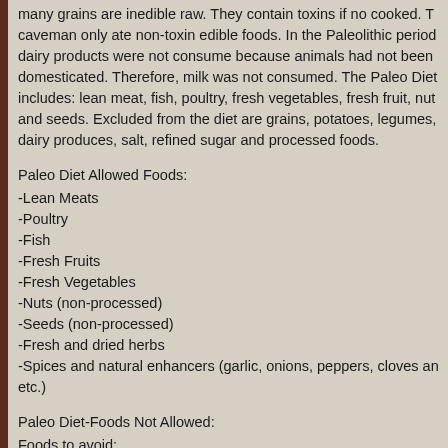many grains are inedible raw. They contain toxins if no cooked. The caveman only ate non-toxin edible foods. In the Paleolithic period dairy products were not consume because animals had not been domesticated. Therefore, milk was not consumed. The Paleo Diet includes: lean meat, fish, poultry, fresh vegetables, fresh fruit, nuts and seeds. Excluded from the diet are grains, potatoes, legumes, dairy produces, salt, refined sugar and processed foods.
Paleo Diet Allowed Foods:
-Lean Meats
-Poultry
-Fish
-Fresh Fruits
-Fresh Vegetables
-Nuts (non-processed)
-Seeds (non-processed)
-Fresh and dried herbs
-Spices and natural enhancers (garlic, onions, peppers, cloves and etc.)
Paleo Diet-Foods Not Allowed:
Foods to avoid:
-All processed food